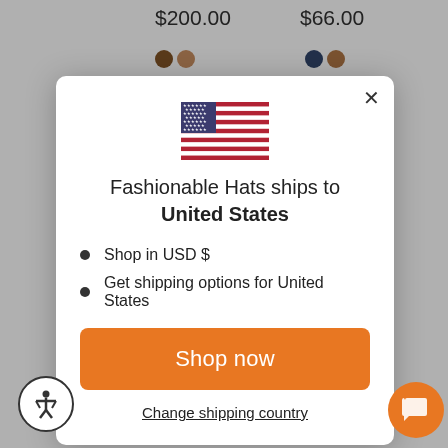$200.00
$66.00
[Figure (screenshot): Modal dialog showing US flag, shipping destination message, bullet points, Shop now button, and Change shipping country link]
Fashionable Hats ships to United States
Shop in USD $
Get shipping options for United States
Shop now
Change shipping country